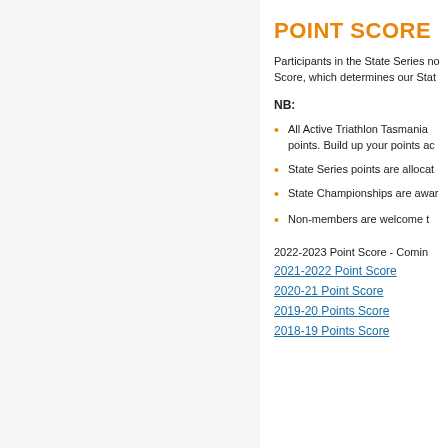POINT SCORE
Participants in the State Series now accumulate a Point Score, which determines our Sta…
NB:
All Active Triathlon Tasmania… points. Build up your points ac…
State Series points are allocat…
State Championships are awar…
Non-members are welcome t…
2022-2023 Point Score - Comin…
2021-2022 Point Score
2020-21 Point Score
2019-20 Points Score
2018-19 Points Score